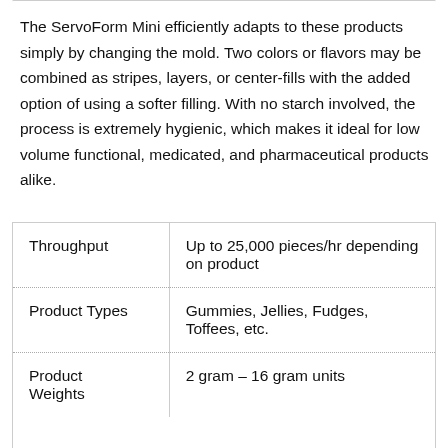The ServoForm Mini efficiently adapts to these products simply by changing the mold. Two colors or flavors may be combined as stripes, layers, or center-fills with the added option of using a softer filling. With no starch involved, the process is extremely hygienic, which makes it ideal for low volume functional, medicated, and pharmaceutical products alike.
| Throughput | Up to 25,000 pieces/hr depending on product |
| Product Types | Gummies, Jellies, Fudges, Toffees, etc. |
| Product Weights | 2 gram – 16 gram units |